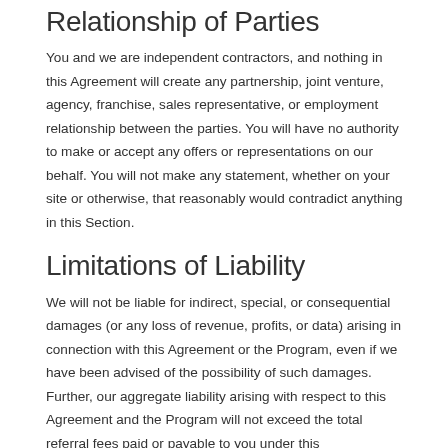Relationship of Parties
You and we are independent contractors, and nothing in this Agreement will create any partnership, joint venture, agency, franchise, sales representative, or employment relationship between the parties. You will have no authority to make or accept any offers or representations on our behalf. You will not make any statement, whether on your site or otherwise, that reasonably would contradict anything in this Section.
Limitations of Liability
We will not be liable for indirect, special, or consequential damages (or any loss of revenue, profits, or data) arising in connection with this Agreement or the Program, even if we have been advised of the possibility of such damages. Further, our aggregate liability arising with respect to this Agreement and the Program will not exceed the total referral fees paid or payable to you under this